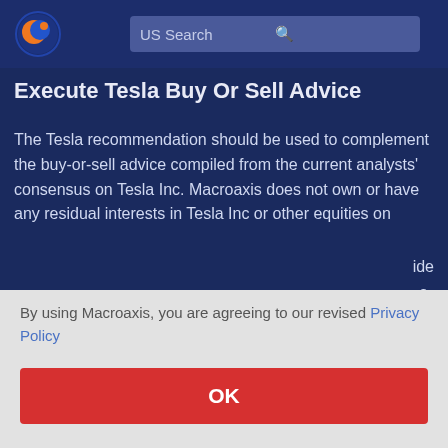US Search
Execute Tesla Buy Or Sell Advice
The Tesla recommendation should be used to complement the buy-or-sell advice compiled from the current analysts' consensus on Tesla Inc. Macroaxis does not own or have any residual interests in Tesla Inc or other equities on
By using Macroaxis, you are agreeing to our revised Privacy Policy
OK